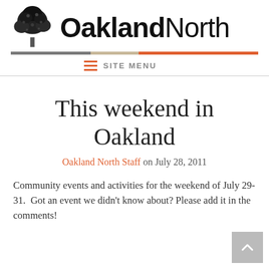[Figure (logo): Oakland North newspaper logo with tree illustration and text OaklandNorth]
SITE MENU
This weekend in Oakland
Oakland North Staff on July 28, 2011
Community events and activities for the weekend of July 29-31. Got an event we didn't know about? Please add it in the comments!